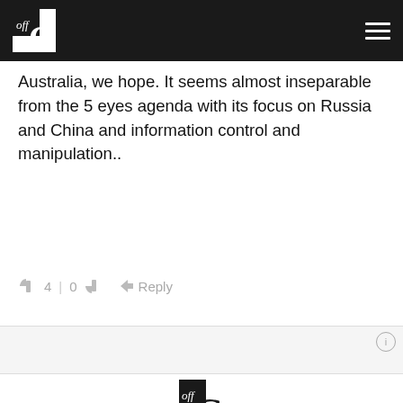OffGuardian header navigation bar
Australia, we hope. It seems almost inseparable from the 5 eyes agenda with its focus on Russia and China and information control and manipulation..
👍 4 | 0 👎 ➤ Reply
[Figure (other): Advertisement or empty ad placeholder with info icon]
[Figure (logo): OffGuardian logo — black square with 'off' in italic and large G]
Copyright © 2022 OffGuardian. Privacy Policy. powered by WordPress . Theme: OffGuardian by Wild Reality.net .